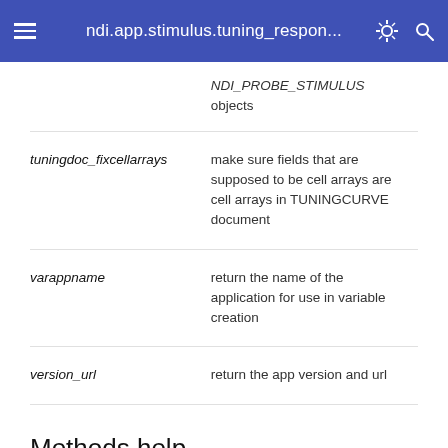ndi.app.stimulus.tuning_respon...
| Method | Description |
| --- | --- |
| NDI_PROBE_STIMULUS objects | NDI_PROBE_STIMULUS objects |
| tuningdoc_fixcellarrays | make sure fields that are supposed to be cell arrays are cell arrays in TUNINGCURVE document |
| varappname | return the name of the application for use in variable creation |
| version_url | return the app version and url |
Methods help